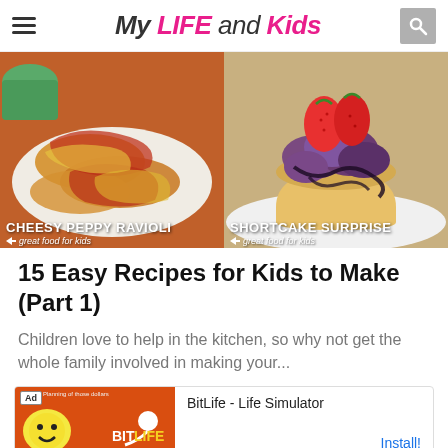My LIFE and Kids
[Figure (photo): Two food photos side by side: left shows Cheesy Peppy Ravioli on a plate with tomato sauce, right shows Shortcake Surprise dessert with berries and chocolate sauce. Both labeled as 'great food for kids'.]
15 Easy Recipes for Kids to Make (Part 1)
Children love to help in the kitchen, so why not get the whole family involved in making your...
[Figure (screenshot): Ad banner for BitLife - Life Simulator app with Install button]